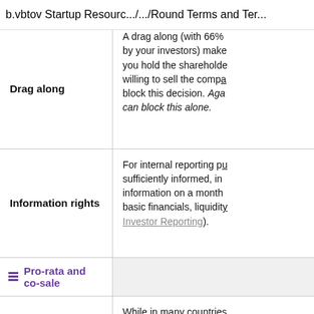btov Startup Resourc... / ... / Round Terms and Ter...
| Term | Description |
| --- | --- |
| Drag along | A drag along (with 66% trigger agreed by your investors) makes sure that if you hold the shareholders willing to sell the company, nobody can block this decision. Again, no single investor can block this alone. |
| Information rights | For internal reporting purposes to keep investors sufficiently informed, investors will receive financial information on a monthly/quarterly basis — basic financials, liquidity (see also Investor Reporting). |
| Pro-rata and co-sale |  |
| Pro-rata right | While in many countries this is a statutory right for investors making sure they keep their according stake in |